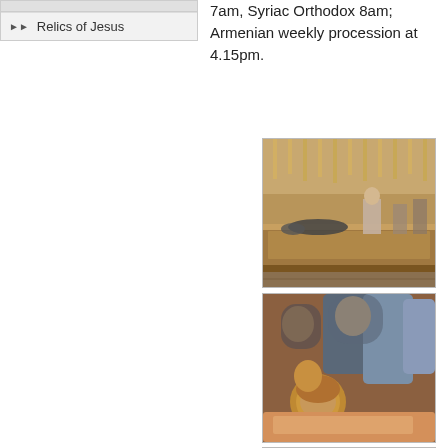Relics of Jesus
7am, Syriac Orthodox 8am; Armenian weekly procession at 4.15pm.
[Figure (photo): Interior of a church showing a stone slab (Stone of Unction) with a pilgrim prostrating on it, candles and ornate decorations in the background.]
[Figure (photo): Religious icon painting depicting the lamentation of Christ, showing figures including the Virgin Mary mourning over the body of Jesus, in Byzantine/Orthodox style.]
[Figure (photo): Partial view of another religious artwork or photograph inside a church, partially cut off at the bottom of the page.]